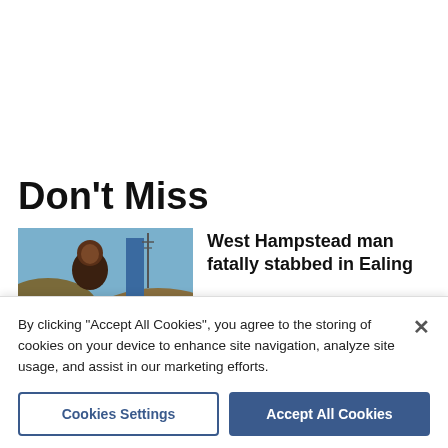Don't Miss
[Figure (photo): A man photographed outdoors with a blue structure and a radio/communications tower visible in the background against a blue sky.]
West Hampstead man fatally stabbed in Ealing
By clicking "Accept All Cookies", you agree to the storing of cookies on your device to enhance site navigation, analyze site usage, and assist in our marketing efforts.
Cookies Settings
Accept All Cookies